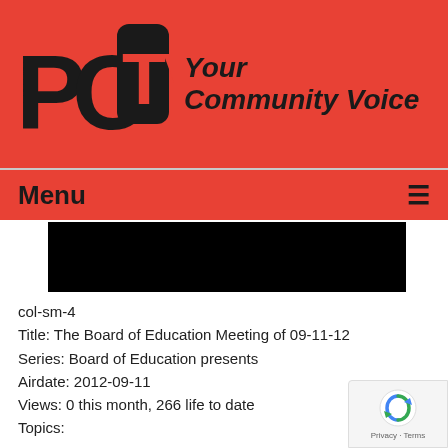[Figure (logo): PCTV Your Community Voice logo on red background with stylized PCTV letters]
Menu ☰
[Figure (screenshot): Black video player bar]
col-sm-4
Title: The Board of Education Meeting of 09-11-12
Series: Board of Education presents
Airdate: 2012-09-11
Views: 0 this month, 266 life to date
Topics:

Opening of School update

Hosts:

Board of Education